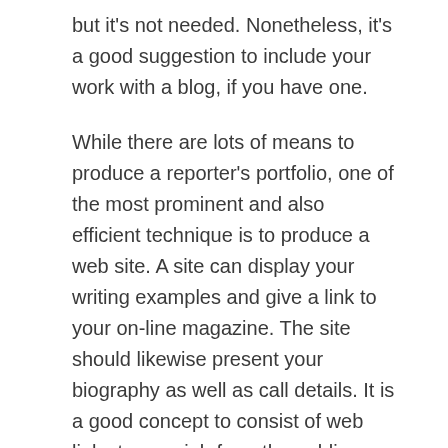but it's not needed. Nonetheless, it's a good suggestion to include your work with a blog, if you have one.
While there are lots of means to produce a reporter's portfolio, one of the most prominent and also efficient technique is to produce a web site. A site can display your writing examples and give a link to your on-line magazine. The site should likewise present your biography as well as call details. It is a good concept to consist of web links to your job from the public. When feasible, consist of several of your individual jobs and study in your reporter's profile, if you're a recent grad, and also your ideal work.